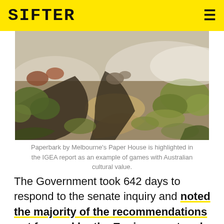SIFTER
[Figure (photo): Aerial/bird's-eye view of Australian bushland with paperbark trees, scrub, and sandy terrain - from the game Paperbark by Paper House.]
Paperbark by Melbourne's Paper House is highlighted in the IGEA report as an example of games with Australian cultural value.
The Government took 642 days to respond to the senate inquiry and noted the majority of the recommendations put forward by the Environment and Communications Reference Committee in January 2018.